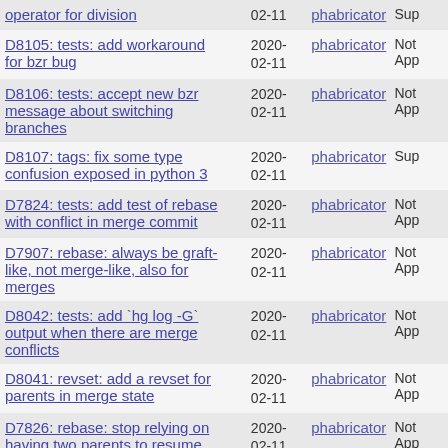| Title | Date | Reviewer | Status |
| --- | --- | --- | --- |
| operator for division | 2020-02-11 | phabricator | Sup... |
| D8105: tests: add workaround for bzr bug | 2020-02-11 | phabricator | Not App... |
| D8106: tests: accept new bzr message about switching branches | 2020-02-11 | phabricator | Not App... |
| D8107: tags: fix some type confusion exposed in python 3 | 2020-02-11 | phabricator | Sup... |
| D7824: tests: add test of rebase with conflict in merge commit | 2020-02-11 | phabricator | Not App... |
| D7907: rebase: always be graft-like, not merge-like, also for merges | 2020-02-11 | phabricator | Not App... |
| D8042: tests: add `hg log -G` output when there are merge conflicts | 2020-02-11 | phabricator | Not App... |
| D8041: revset: add a revset for parents in merge state | 2020-02-11 | phabricator | Not App... |
| D7826: rebase: stop relying on having two parents to resume rebase | 2020-02-11 | phabricator | Not App... |
| D7828: rebase: remove some redundant setting of dirstate parents | 2020-02-11 | phabricator | Not App... |
| D7829: rebase: remove some now-unused parent arguments | 2020-02-11 | phabricator | Not App... |
| D7827: rebase: don't use rebased node as dirstate p2 (BC) | 2020-02-11 | phabricator | Not App... |
| D8108: tags: use modern // | 2020- | phabricator | Not... |